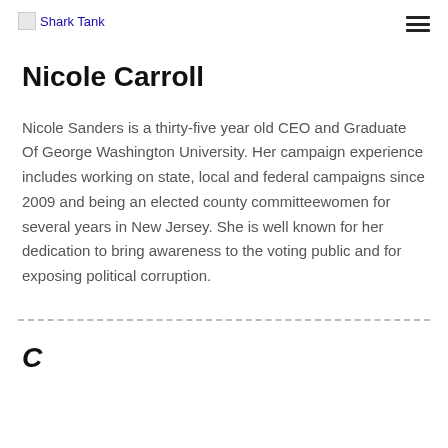Shark Tank
Nicole Carroll
Nicole Sanders is a thirty-five year old CEO and Graduate Of George Washington University. Her campaign experience includes working on state, local and federal campaigns since 2009 and being an elected county committeewomen for several years in New Jersey. She is well known for her dedication to bring awareness to the voting public and for exposing political corruption.
C…